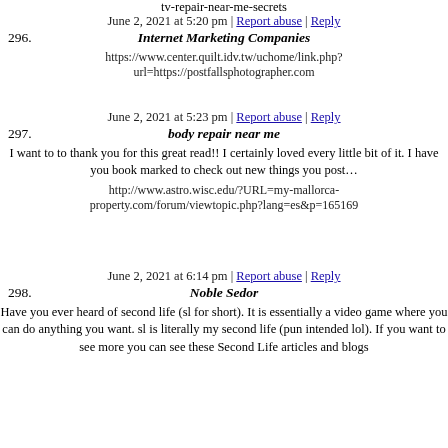tv-repair-near-me-secrets
June 2, 2021 at 5:20 pm | Report abuse | Reply
296. Internet Marketing Companies
https://www.center.quilt.idv.tw/uchome/link.php?url=https://postfallsphotographer.com
June 2, 2021 at 5:23 pm | Report abuse | Reply
297. body repair near me
I want to to thank you for this great read!! I certainly loved every little bit of it. I have you book marked to check out new things you post…
http://www.astro.wisc.edu/?URL=my-mallorca-property.com/forum/viewtopic.php?lang=es&p=165169
June 2, 2021 at 6:14 pm | Report abuse | Reply
298. Noble Sedor
Have you ever heard of second life (sl for short). It is essentially a video game where you can do anything you want. sl is literally my second life (pun intended lol). If you want to see more you can see these Second Life articles and blogs